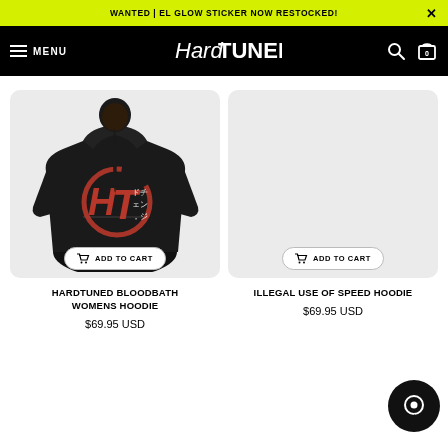WANTED | EL GLOW STICKER NOW RESTOCKED!
HardTUNED MENU
[Figure (photo): Back view of a woman wearing a black hoodie with a red Japanese-style HT logo on the back]
ADD TO CART
ADD TO CART
HARDTUNED BLOODBATH WOMENS HOODIE
$69.95 USD
ILLEGAL USE OF SPEED HOODIE
$69.95 USD